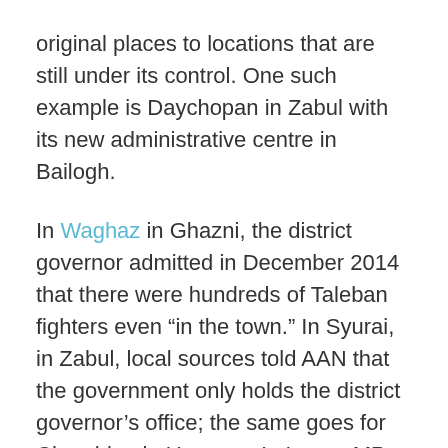original places to locations that are still under its control. One such example is Daychopan in Zabul with its new administrative centre in Bailogh.
In Waghaz in Ghazni, the district governor admitted in December 2014 that there were hundreds of Taleban fighters even “in the town.” In Syurai, in Zabul, local sources told AAN that the government only holds the district governor’s office; the same goes for Charchino in Uruzgan. In Logar, MPs and provincial council members said in late 2014 “most parts of Charkh, Kharwar and Azra districts [are] under the control of the armed opponents.” In Tagab,